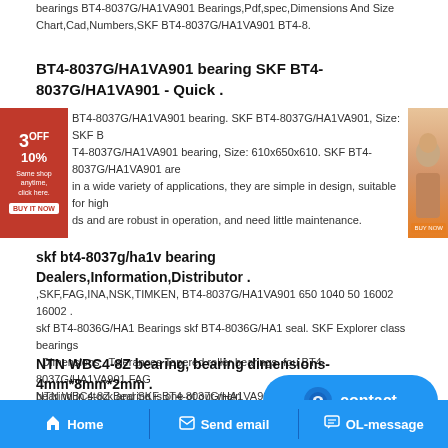bearings BT4-8037G/HA1VA901 Bearings,Pdf,spec,Dimensions And Size Chart,Cad,Numbers,SKF BT4-8037G/HA1VA901 BT4-8.
BT4-8037G/HA1VA901 bearing SKF BT4-8037G/HA1VA901 - Quick .
[Figure (other): Red advertisement banner on left side with '3 OFF 10%' promotional text]
BT4-8037G/HA1VA901 bearing. SKF BT4-8037G/HA1VA901, Size: SKF BT4-8037G/HA1VA901 bearing, Size: 610x650x610. SKF BT4-8037G/HA1VA901 are in a wide variety of applications, they are simple in design, suitable for high ds and are robust in operation, and need little maintenance.
[Figure (other): Orange advertisement banner on right side with a woman's photo]
skf bt4-8037g/ha1v bearing Dealers,Information,Distributor .
,SKF,FAG,INA,NSK,TIMKEN, BT4-8037G/HA1VA901 650 1040 50 16002 16002 . skf BT4-8036G/HA1 Bearings skf BT4-8036G/HA1 seal. SKF Explorer class bearings · Dimensions · Tolerances Tapered roller bearings, fou BT4-8037G/HA1VA901 FAG bearing in stock,and SKF BT4-8037G/HA1VA901 bearin.
NTN WBC4-8Z bearing, bearing dimensions-4mm*8mm*2mm .
NTN WBC4-8Z Bearing is one of our main products. We have the information about bearing sale, bearing size, bearing price and bea
[Figure (other): Blue contact button with chat icon]
Home   Send email   OL-message